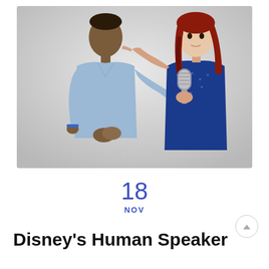[Figure (photo): Two people against a light gray background. On the left, a tall young Black man wearing a light blue v-neck t-shirt and a blue wristband, with his hands clasped in front of him. On the right, a young woman with long red hair wearing a blue dotted top, holding a vintage-style microphone up to her extended hand which is pointing at the man's head.]
18
NOV
Disney's Human Speaker